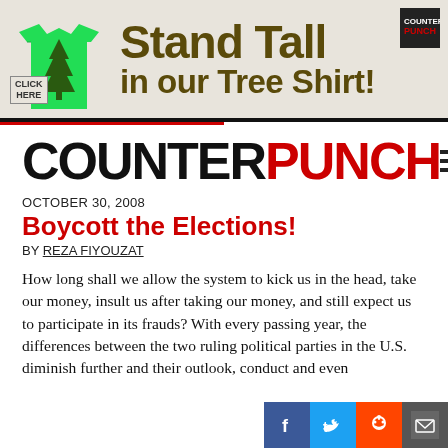[Figure (illustration): Advertisement banner for CounterPunch 'Stand Tall in our Tree Shirt!' showing a green t-shirt with a tree graphic, bold olive/brown text, and a 'Click Here' button]
[Figure (logo): COUNTERPUNCH logo in black and red bold text with hamburger menu icon]
OCTOBER 30, 2008
Boycott the Elections!
BY REZA FIYOUZAT
How long shall we allow the system to kick us in the head, take our money, insult us after taking our money, and still expect us to participate in its frauds? With every passing year, the differences between the two ruling political parties in the U.S. diminish further and their outlook, conduct and even...